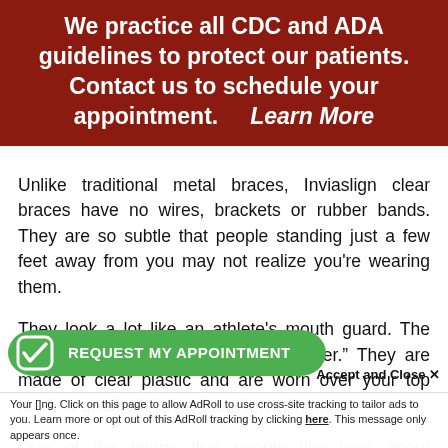We practice all CDC and ADA guidelines to protect our patients. Contact us to schedule your appointment.    Learn More
Unlike traditional metal braces, Inviaslign clear braces have no wires, brackets or rubber bands. They are so subtle that people standing just a few feet away from you may not realize you’re wearing them.
They look a lot like an athlete’s mouth guard. The proper term for such braces is “aligner.” They are made of clear plastic and are worn over your top teeth to gradually bring them into alignment.
One of the things that people like best about Invisalign clear braces is that they are removable.
[Figure (other): Green rounded rectangle CTA button with checkbox icon and text REQUEST MY APPOINTMENT]
Accept and Close ×
Your [cookie notice text]. Click on this page to allow AdRoll to use cross-site tracking to tailor ads to you. Learn more or opt out of this AdRoll tracking by clicking here. This message only appears once.